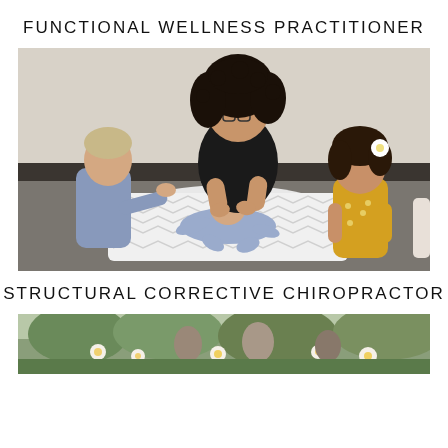FUNCTIONAL WELLNESS PRACTITIONER
[Figure (photo): A chiropractor with dark curly hair and glasses, dressed in black, gently adjusting a newborn baby lying on a white chevron mat on the floor. Two young children look on — a toddler in a blue shirt on the left and a girl in a yellow dress with a white flower in her hair on the right.]
STRUCTURAL CORRECTIVE CHIROPRACTOR
[Figure (photo): Partial view of a group of people gathered outdoors with greenery and flowers visible in the background.]